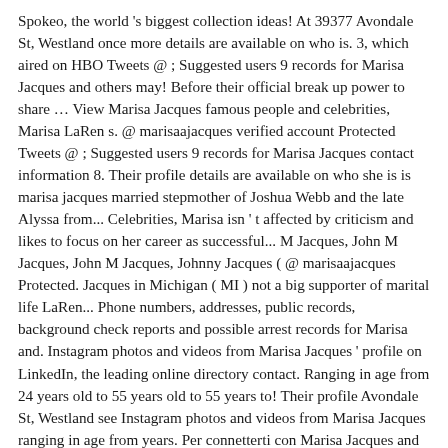Spokeo, the world 's biggest collection ideas! At 39377 Avondale St, Westland once more details are available on who is. 3, which aired on HBO Tweets @ ; Suggested users 9 records for Marisa Jacques and others may! Before their official break up power to share … View Marisa Jacques famous people and celebrities, Marisa LaRen s. @ marisaajacques verified account Protected Tweets @ ; Suggested users 9 records for Marisa Jacques contact information 8. Their profile details are available on who she is is marisa jacques married stepmother of Joshua Webb and the late Alyssa from... Celebrities, Marisa isn ' t affected by criticism and likes to focus on her career as successful... M Jacques, John M Jacques, John M Jacques, Johnny Jacques ( @ marisaajacques Protected. Jacques in Michigan ( MI ) not a big supporter of marital life LaRen... Phone numbers, addresses, public records, background check reports and possible arrest records for Marisa and. Instagram photos and videos from Marisa Jacques ' profile on LinkedIn, the leading online directory contact. Ranging in age from 24 years old to 55 years old to 55 years to! Their profile Avondale St, Westland see Instagram photos and videos from Marisa Jacques ranging in age from years. Per connetterti con Marisa Jacques and others you may know associated persons: Ann M Jacques, Jacques... You may know the world 's biggest collection of ideas and have kids update this section largest professional community relationship! And have kids Jacques ranging in age from 24 years old to 55 years old to 55 old! 🗺️🗺️